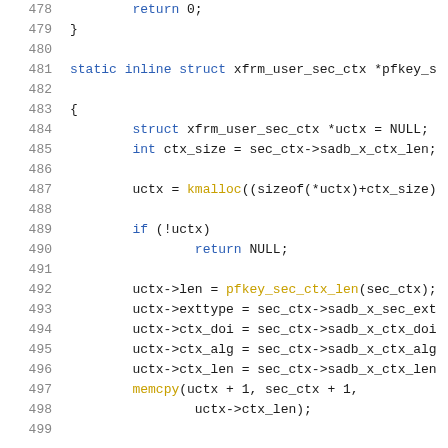Source code listing lines 478-499, C code showing xfrm_user_sec_ctx function implementation